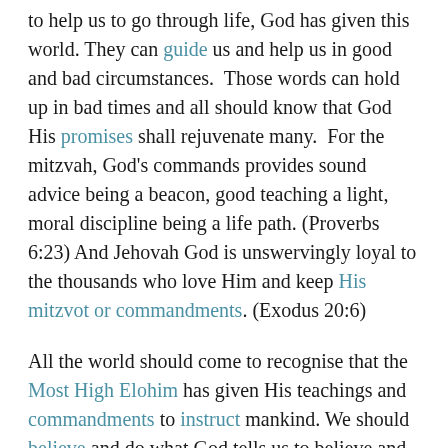to help us to go through life, God has given this world. They can guide us and help us in good and bad circumstances.  Those words can hold up in bad times and all should know that God His promises shall rejuvenate many.  For the mitzvah, God's commands provides sound advice being a beacon, good teaching a light, moral discipline being a life path. (Proverbs 6:23) And Jehovah God is unswervingly loyal to the thousands who love Him and keep His mitzvot or commandments. (Exodus 20:6)
All the world should come to recognise that the Most High Elohim has given His teachings and commandments to instruct mankind. We should believe and do what God tells us to believe and to do, and should not be cling to human traditions and false teachings. Even when we first latched onto some false teachings it is never to late to change idea and to go for the pure Word of God. Never is